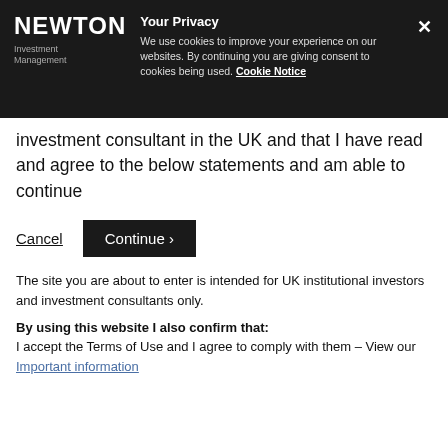NEWTON Investment Management — Your Privacy — We use cookies to improve your experience on our websites. By continuing you are giving consent to cookies being used. Cookie Notice
investment consultant in the UK and that I have read and agree to the below statements and am able to continue
Cancel | Continue ›
The site you are about to enter is intended for UK institutional investors and investment consultants only.
By using this website I also confirm that: I accept the Terms of Use and I agree to comply with them – View our Important information